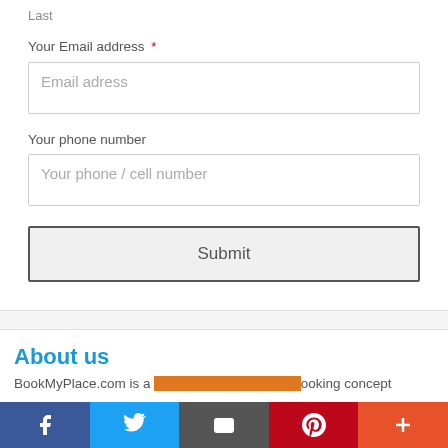Last
Your Email address *
Email adress
Your phone number
Your phone / cell number
Submit
About us
BookMyPlace.com is a web-based co-working booking concept